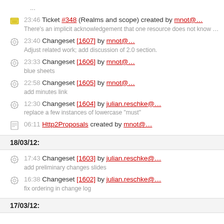...
23:46 Ticket #348 (Realms and scope) created by mnot@… There's an implicit acknowledgement that one resource does not know …
23:40 Changeset [1607] by mnot@… Adjust related work; add discussion of 2.0 section.
23:33 Changeset [1606] by mnot@… blue sheets
22:58 Changeset [1605] by mnot@… add minutes link
12:30 Changeset [1604] by julian.reschke@… replace a few instances of lowercase "must"
06:11 Http2Proposals created by mnot@…
18/03/12:
17:43 Changeset [1603] by julian.reschke@… add preliminary changes slides
16:38 Changeset [1602] by julian.reschke@… fix ordering in change log
17/03/12: